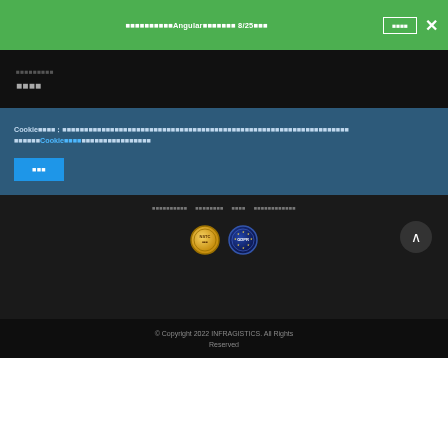AngularのライブウェビナーAngularライブウェビナー 8/25開催 今すぐ登録 ×
コンポーネントライブラリ
サポート
Cookieに関するお知らせ：このウェブサイトでは、最高のブラウジング体験を提供するためにCookieを使用しています。このサイトを引き続き使用することは、Cookieの使用に同意したとみなされます。
同意する
プライバシーポリシー　利用規約　サイトマップ　アクセシビリティ宣言
[Figure (logo): NSTC badge and GDPR compliance seal badges]
© Copyright 2022 INFRAGISTICS. All Rights Reserved